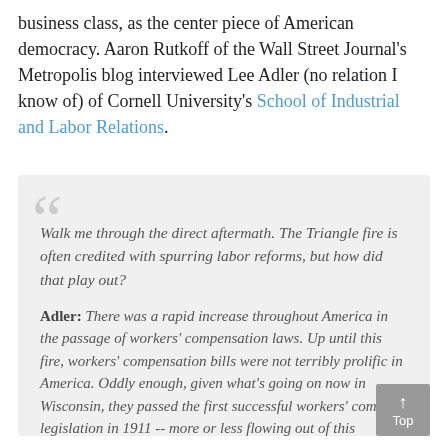business class, as the center piece of American democracy. Aaron Rutkoff of the Wall Street Journal's Metropolis blog interviewed Lee Adler (no relation I know of) of Cornell University's School of Industrial and Labor Relations.
Walk me through the direct aftermath. The Triangle fire is often credited with spurring labor reforms, but how did that play out?
Adler: There was a rapid increase throughout America in the passage of workers' compensation laws. Up until this fire, workers' compensation bills were not terribly prolific in America. Oddly enough, given what's going on now in Wisconsin, they passed the first successful workers' comp legislation in 1911 -- more or less flowing out of this sutation. Within part because of the Triangle fire, in five years we see every state in America pass workers' comp legislation.